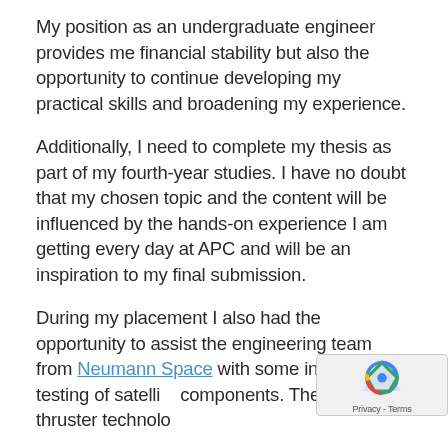My position as an undergraduate engineer provides me financial stability but also the opportunity to continue developing my practical skills and broadening my experience.
Additionally, I need to complete my thesis as part of my fourth-year studies. I have no doubt that my chosen topic and the content will be influenced by the hands-on experience I am getting every day at APC and will be an inspiration to my final submission.
During my placement I also had the opportunity to assist the engineering team from Neumann Space with some in-house testing of satellite components. Their work in thruster technology and live experience and the experience about